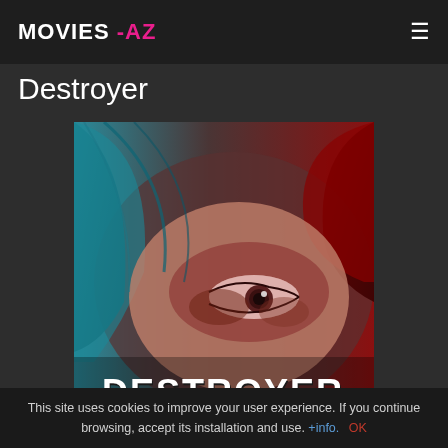MOVIES -AZ
Destroyer
[Figure (photo): Movie poster for Destroyer showing a close-up of a woman's distressed eye with blue and red color split on hair, and DESTROYER text at the bottom]
This site uses cookies to improve your user experience. If you continue browsing, accept its installation and use. +info. OK